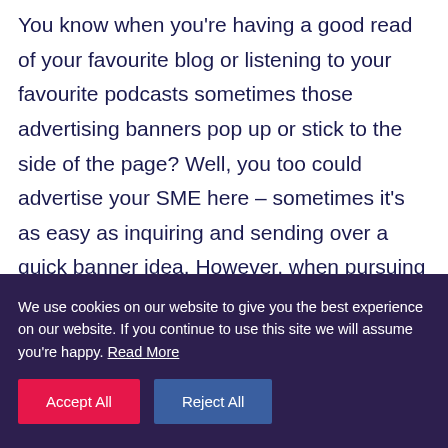You know when you're having a good read of your favourite blog or listening to your favourite podcasts sometimes those advertising banners pop up or stick to the side of the page? Well, you too could advertise your SME here – sometimes it's as easy as inquiring and sending over a quick banner idea. However, when pursuing this kind of digital advertisement you want to make sure you're doing it on a relevant website to your business.
We use cookies on our website to give you the best experience on our website. If you continue to use this site we will assume you're happy. Read More